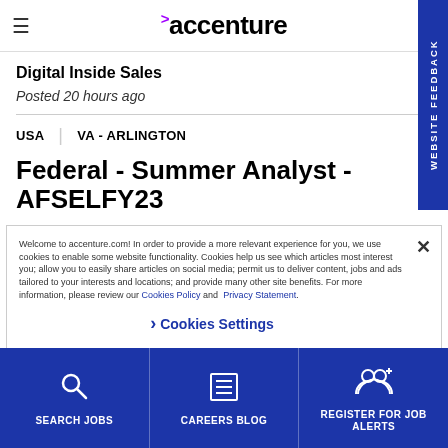accenture
Digital Inside Sales
Posted 20 hours ago
USA | VA - ARLINGTON
Federal - Summer Analyst - AFSELFY23
Welcome to accenture.com! In order to provide a more relevant experience for you, we use cookies to enable some website functionality. Cookies help us see which articles most interest you; allow you to easily share articles on social media; permit us to deliver content, jobs and ads tailored to your interests and locations; and provide many other site benefits. For more information, please review our Cookies Policy and Privacy Statement.
Cookies Settings
SEARCH JOBS | CAREERS BLOG | REGISTER FOR JOB ALERTS